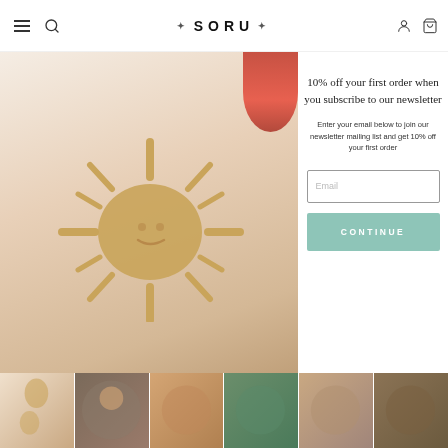SORU — navigation bar with menu, search, account, and cart icons
[Figure (photo): Gold sun-shaped earring and jewelry pieces displayed on white background; partially visible on left side of page behind a modal popup overlay]
10% off your first order when you subscribe to our newsletter
Enter your email below to join our newsletter mailing list and get 10% off your first order
Email (input field placeholder)
CONTINUE
[Figure (photo): Thumbnail row of six jewelry product images at the bottom of the page]